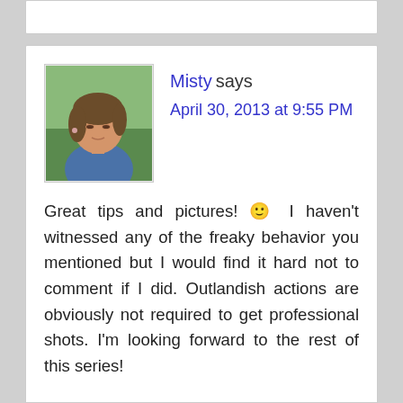Misty says
April 30, 2013 at 9:55 PM
Great tips and pictures! 🙂 I haven't witnessed any of the freaky behavior you mentioned but I would find it hard not to comment if I did. Outlandish actions are obviously not required to get professional shots. I'm looking forward to the rest of this series!
Reply